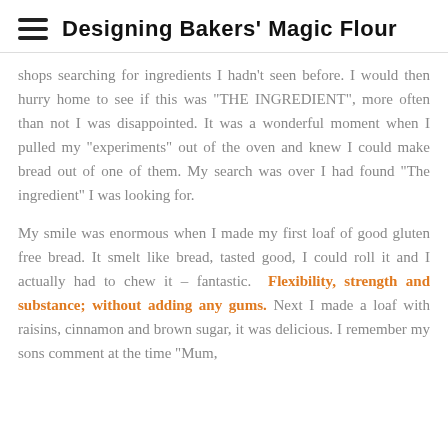Designing Bakers' Magic Flour
shops searching for ingredients I hadn't seen before. I would then hurry home to see if this was "THE INGREDIENT", more often than not I was disappointed. It was a wonderful moment when I pulled my "experiments" out of the oven and knew I could make bread out of one of them. My search was over I had found "The ingredient" I was looking for.

My smile was enormous when I made my first loaf of good gluten free bread. It smelt like bread, tasted good, I could roll it and I actually had to chew it – fantastic. Flexibility, strength and substance; without adding any gums. Next I made a loaf with raisins, cinnamon and brown sugar, it was delicious. I remember my sons comment at the time "Mum, you've reached the Da Vinci Code" the secret ingredient